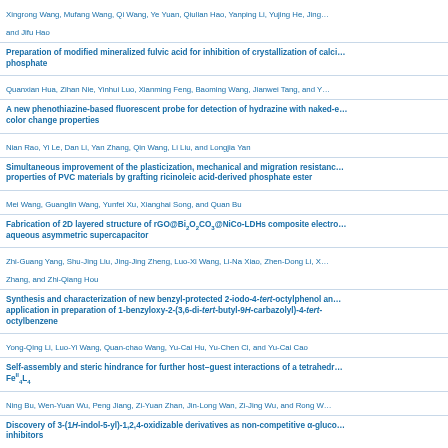Xingrong Wang, Mufang Wang, Qi Wang, Ye Yuan, Qiulian Hao, Yanping Li, Yujing He, Jing… and Jifu Hao
Preparation of modified mineralized fulvic acid for inhibition of crystallization of calcium phosphate
Quanxian Hua, Zihan Nie, Yinhui Luo, Xianming Feng, Baoming Wang, Jianwei Tang, and Y…
A new phenothiazine-based fluorescent probe for detection of hydrazine with naked-eye color change properties
Nian Rao, Yi Le, Dan Li, Yan Zhang, Qin Wang, Li Liu, and Longjia Yan
Simultaneous improvement of the plasticization, mechanical and migration resistance properties of PVC materials by grafting ricinoleic acid-derived phosphate ester
Mei Wang, Guanglin Wang, Yunfei Xu, Xianghai Song, and Quan Bu
Fabrication of 2D layered structure of rGO@Bi₂O₂CO₃@NiCo-LDHs composite electrode for aqueous asymmetric supercapacitor
Zhi-Guang Yang, Shu-Jing Liu, Jing-Jing Zheng, Luo-Xi Wang, Li-Na Xiao, Zhen-Dong Li, X… Zhang, and Zhi-Qiang Hou
Synthesis and characterization of new benzyl-protected 2-iodo-4-tert-octylphenol and application in preparation of 1-benzyloxy-2-(3,6-di-tert-butyl-9H-carbazolyl)-4-tert-octylbenzene
Yong-Qing Li, Luo-Yi Wang, Quan-chao Wang, Yu-Cai Hu, Yu-Chen Ci, and Yu-Cai Cao
Self-assembly and steric hindrance for further host–guest interactions of a tetrahedral Fe²⁺₄L₄
Ning Bu, Wen-Yuan Wu, Peng Jiang, Zi-Yuan Zhan, Jin-Long Wan, Zi-Jing Wu, and Rong W…
Discovery of 3-(1H-indol-5-yl)-1,2,4-oxidizable derivatives as non-competitive α-glucosidase inhibitors
Juan Zhang, Yong-Xi Ge, Lei Fang, Kong-Kai Zhu, Shan-Kui Liu, Kai-Ming Wang, and Chen… Jiang
A new 2D→3D interdigitated supramolecular compound as luminescent sensor for…